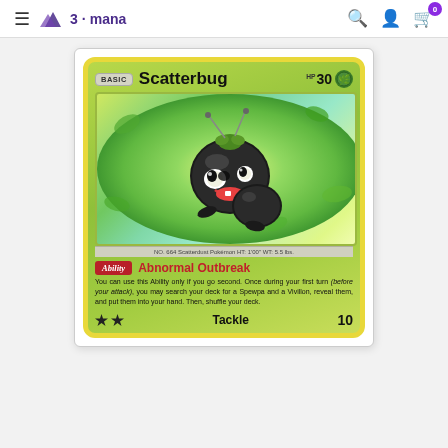☰  3·mana   🔍  👤  🛒 0
[Figure (illustration): Scatterbug Pokémon trading card. Basic card with 30 HP, Grass type. Features Scatterbug artwork — a small black round bug Pokémon with antennae smiling in a leafy green background. Has 'Ability: Abnormal Outbreak' and 'Tackle' attack for 10 damage. Dex entry: NO. 664 Scatterdust Pokémon HT: 1'00" WT: 5.5 lbs.]